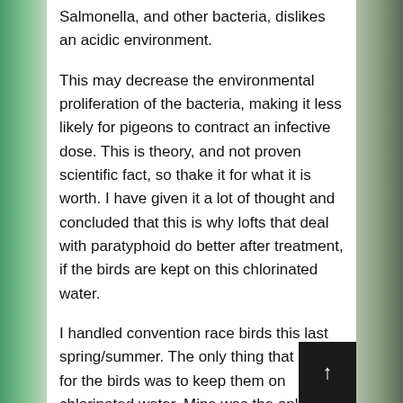Salmonella, and other bacteria, dislikes an acidic environment.
This may decrease the environmental proliferation of the bacteria, making it less likely for pigeons to contract an infective dose. This is theory, and not proven scientific fact, so thake it for what it is worth. I have given it a lot of thought and concluded that this is why lofts that deal with paratyphoid do better after treatment, if the birds are kept on this chlorinated water.
I handled convention race birds this last spring/summer. The only thing that I did for the birds was to keep them on chlorinated water. Mine was the only loft that experienced no sick pigeons. Is that coincidence? I think it probably isn't.